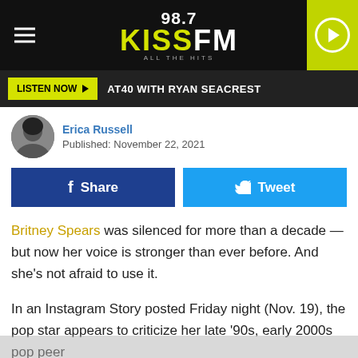[Figure (screenshot): 98.7 KISS FM radio station website header with logo, hamburger menu, and green play button]
LISTEN NOW ▶  AT40 WITH RYAN SEACREST
Erica Russell
Published: November 22, 2021
[Figure (other): Facebook Share button and Twitter Tweet button]
Britney Spears was silenced for more than a decade — but now her voice is stronger than ever before. And she's not afraid to use it.
In an Instagram Story posted Friday night (Nov. 19), the pop star appears to criticize her late '90s, early 2000s pop peer